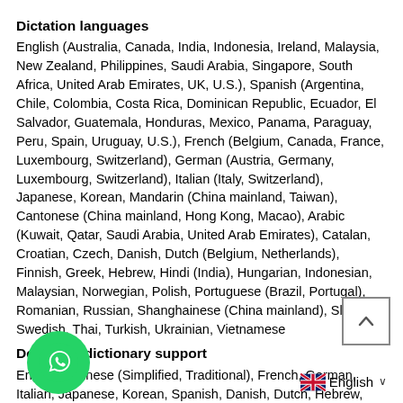Dictation languages
English (Australia, Canada, India, Indonesia, Ireland, Malaysia, New Zealand, Philippines, Saudi Arabia, Singapore, South Africa, United Arab Emirates, UK, U.S.), Spanish (Argentina, Chile, Colombia, Costa Rica, Dominican Republic, Ecuador, El Salvador, Guatemala, Honduras, Mexico, Panama, Paraguay, Peru, Spain, Uruguay, U.S.), French (Belgium, Canada, France, Luxembourg, Switzerland), German (Austria, Germany, Luxembourg, Switzerland), Italian (Italy, Switzerland), Japanese, Korean, Mandarin (China mainland, Taiwan), Cantonese (China mainland, Hong Kong, Macao), Arabic (Kuwait, Qatar, Saudi Arabia, United Arab Emirates), Catalan, Croatian, Czech, Danish, Dutch (Belgium, Netherlands), Finnish, Greek, Hebrew, Hindi (India), Hungarian, Indonesian, Malaysian, Norwegian, Polish, Portuguese (Brazil, Portugal), Romanian, Russian, Shanghainese (China mainland), Slovak, Swedish, Thai, Turkish, Ukrainian, Vietnamese
Definition dictionary support
English, Chinese (Simplified, Traditional), French, German, Italian, Japanese, Korean, Spanish, Danish, Dutch, Hebrew, Hindi, Norwegian, Portuguese, Russian, Swedish, Thai, Turkish
Thesaurus
English (UK, U.S.)
Bilingual dictionary support with English
Arabic, Chinese (Simplified, Traditional), French, German, Italia...